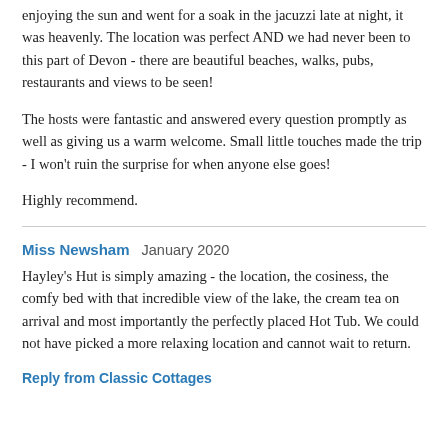enjoying the sun and went for a soak in the jacuzzi late at night, it was heavenly. The location was perfect AND we had never been to this part of Devon - there are beautiful beaches, walks, pubs, restaurants and views to be seen!
The hosts were fantastic and answered every question promptly as well as giving us a warm welcome. Small little touches made the trip - I won't ruin the surprise for when anyone else goes!
Highly recommend.
Miss Newsham   January 2020
Hayley's Hut is simply amazing - the location, the cosiness, the comfy bed with that incredible view of the lake, the cream tea on arrival and most importantly the perfectly placed Hot Tub. We could not have picked a more relaxing location and cannot wait to return.
Reply from Classic Cottages